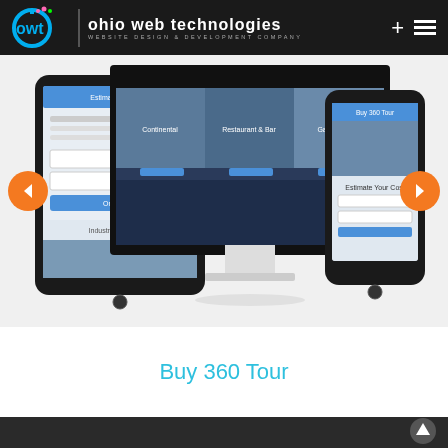ohio web technologies - WEBSITE DESIGN & DEVELOPMENT COMPANY
[Figure (screenshot): Website carousel/slider showing a tablet, desktop monitor, and mobile phone displaying a hospitality website with venue images. Orange left and right navigation arrows on sides.]
Buy 360 Tour